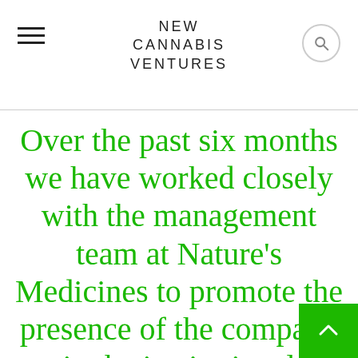NEW CANNABIS VENTURES
Over the past six months we have worked closely with the management team at Nature’s Medicines to promote the presence of the company in the institutional markets and position it as one of the top multi-state operators in the United States. We are excited to partner with